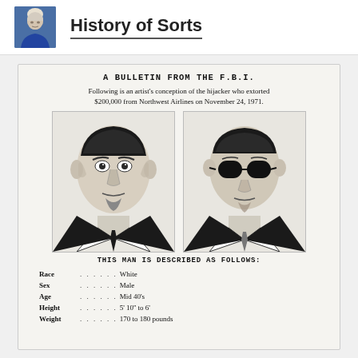History of Sorts
A BULLETIN FROM THE F.B.I.
Following is an artist's conception of the hijacker who extorted $200,000 from Northwest Airlines on November 24, 1971.
[Figure (illustration): Two FBI sketch portraits side by side of DB Cooper: left portrait without glasses, right portrait with dark sunglasses and suit.]
THIS MAN IS DESCRIBED AS FOLLOWS:
Race . . . . . . White
Sex . . . . . . Male
Age . . . . . . Mid 40's
Height . . . . . . 5' 10" to 6'
Weight . . . . . . 170 to 180 pounds